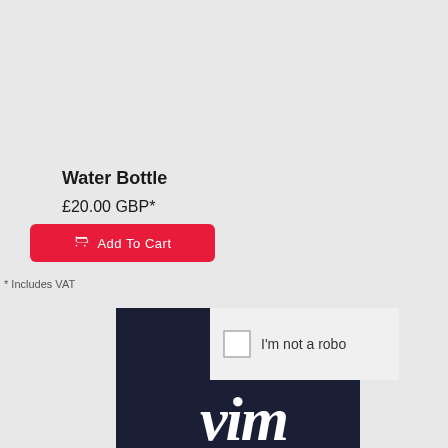Water Bottle
£20.00 GBP*
Add To Cart
* Includes VAT
[Figure (screenshot): reCAPTCHA widget showing checkbox and 'I'm not a robo' text, overlaid on a dark navy block containing a partial 'vim' logo in white italic text]